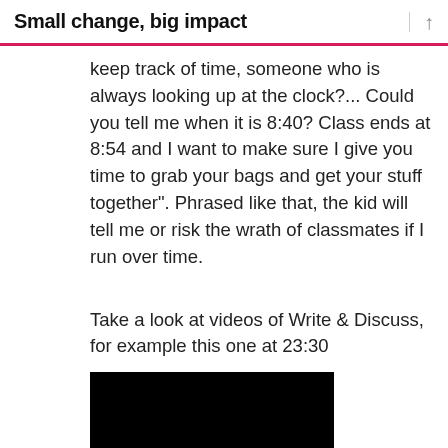Small change, big impact
keep track of time, someone who is always looking up at the clock?... Could you tell me when it is 8:40? Class ends at 8:54 and I want to make sure I give you time to grab your bags and get your stuff together”. Phrased like that, the kid will tell me or risk the wrath of classmates if I run over time.
Take a look at videos of Write & Discuss, for example this one at 23:30
[Figure (photo): Black video thumbnail/player area]